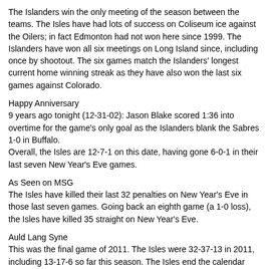The Islanders win the only meeting of the season between the teams. The Isles have had lots of success on Coliseum ice against the Oilers; in fact Edmonton had not won here since 1999. The Islanders have won all six meetings on Long Island since, including once by shootout. The six games match the Islanders' longest current home winning streak as they have also won the last six games against Colorado.
Happy Anniversary
9 years ago tonight (12-31-02): Jason Blake scored 1:36 into overtime for the game's only goal as the Islanders blank the Sabres 1-0 in Buffalo.
Overall, the Isles are 12-7-1 on this date, having gone 6-0-1 in their last seven New Year's Eve games.
As Seen on MSG
The Isles have killed their last 32 penalties on New Year's Eve in those last seven games. Going back an eighth game (a 1-0 loss), the Isles have killed 35 straight on New Year's Eve.
Auld Lang Syne
This was the final game of 2011. The Isles were 32-37-13 in 2011, including 13-17-6 so far this season. The Isles end the calendar year with a 17-20-6 mark at the Coliseum, including 7-9-3 in the 2011-12 campaign. The 32-37-13 mark for the year represented the Isles' best calendar year since 2007.